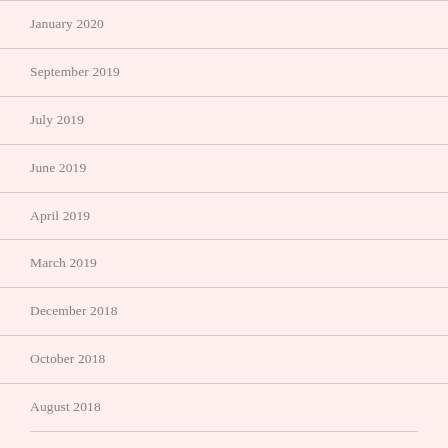January 2020
September 2019
July 2019
June 2019
April 2019
March 2019
December 2018
October 2018
August 2018